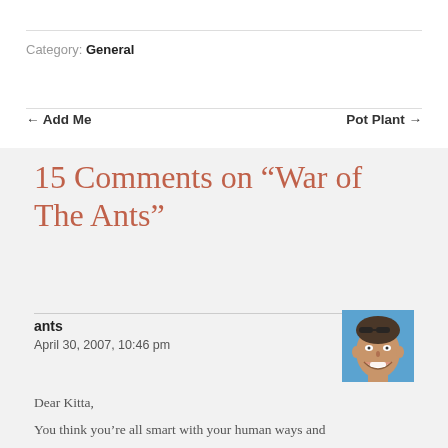Category: General
← Add Me    Pot Plant →
15 Comments on “War of The Ants”
ants
April 30, 2007, 10:46 pm
[Figure (photo): Avatar photo of commenter 'ants' — a man with sunglasses on his head, smiling/laughing against a blue background]
Dear Kitta,
You think you’re all smart with your human ways and